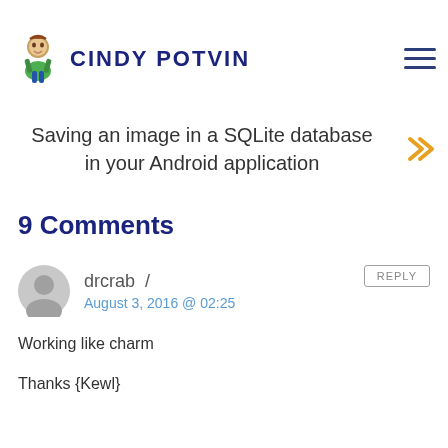CINDY POTVIN
Saving an image in a SQLite database in your Android application
9 Comments
drcrab / August 3, 2016 @ 02:25
Working like charm
Thanks {Kewl}